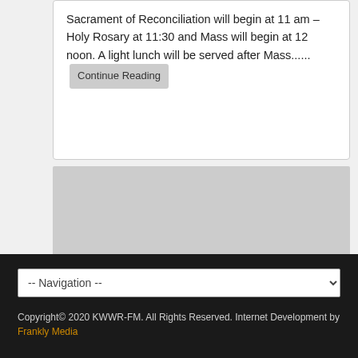Sacrament of Reconciliation will begin at 11 am – Holy Rosary at 11:30 and Mass will begin at 12 noon. A light lunch will be served after Mass...... Continue Reading
[Figure (other): Gray advertisement placeholder box]
-- Navigation -- dropdown | Copyright© 2020 KWWR-FM. All Rights Reserved. Internet Development by Frankly Media